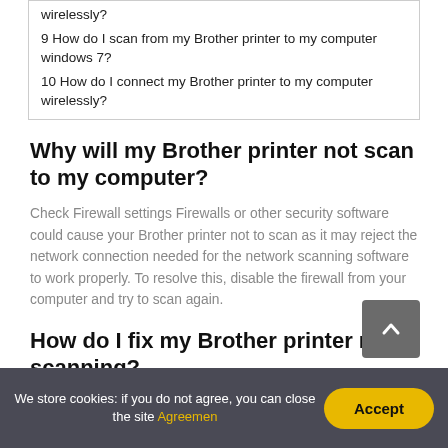wirelessly?
9 How do I scan from my Brother printer to my computer windows 7?
10 How do I connect my Brother printer to my computer wirelessly?
Why will my Brother printer not scan to my computer?
Check Firewall settings Firewalls or other security software could cause your Brother printer not to scan as it may reject the network connection needed for the network scanning software to work properly. To resolve this, disable the firewall from your computer and try to scan again.
How do I fix my Brother printer not scanning?
We store cookies: if you do not agree, you can close the site Agreemen